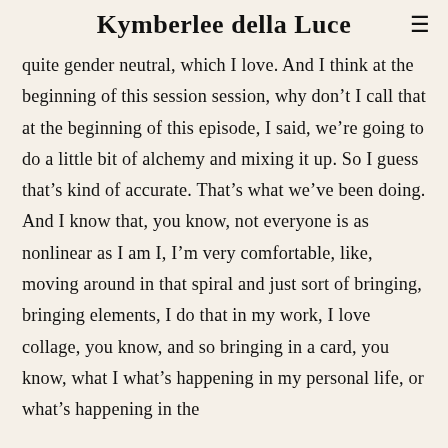Kymberlee della Luce
quite gender neutral, which I love. And I think at the beginning of this session session, why don't I call that at the beginning of this episode, I said, we're going to do a little bit of alchemy and mixing it up. So I guess that's kind of accurate. That's what we've been doing. And I know that, you know, not everyone is as nonlinear as I am I, I'm very comfortable, like, moving around in that spiral and just sort of bringing, bringing elements, I do that in my work, I love collage, you know, and so bringing in a card, you know, what I what's happening in my personal life, or what's happening in the